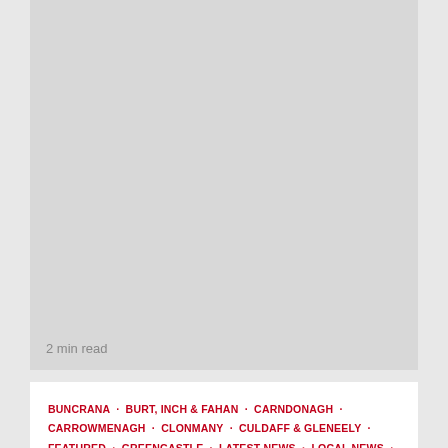[Figure (photo): Gray placeholder image card at top with '2 min read' label]
2 min read
BUNCRANA · BURT, INCH & FAHAN · CARNDONAGH · CARROWMENAGH · CLONMANY · CULDAFF & GLENEELY · FEATURED · GREENCASTLE · LATEST NEWS · LOCAL NEWS · MALIN HEAD · MOVILLE · MUFF · NEWS · NEWTOWN · QUIGLEY'S POINT · UNCATEGORIZED
Refugees welcomed as war rages on
Damian Dowds  1 week ago  👁 225
[Figure (photo): Gray placeholder image card at bottom with red scroll-to-top button]